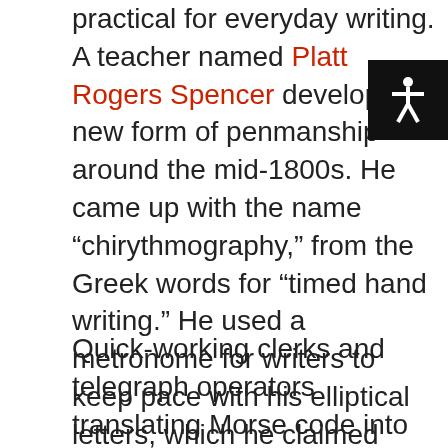practical for everyday writing. A teacher named Platt Rogers Spencer developed a new form of penmanship around the mid-1800s. He came up with the name “chirythmography,” from the Greek words for “timed hand writing.” He used a metronome for writers to keep pace with his elliptical letters, which he claimed were inspired by nature. The “Spencerian” method was taught in schools for the latter half of the 19th century.
Quick-working clerks and telegraph operators translating Morse code into script found the Spencer cursive still too time consuming. Next up: Austin Palmer and the Palmer Method. His